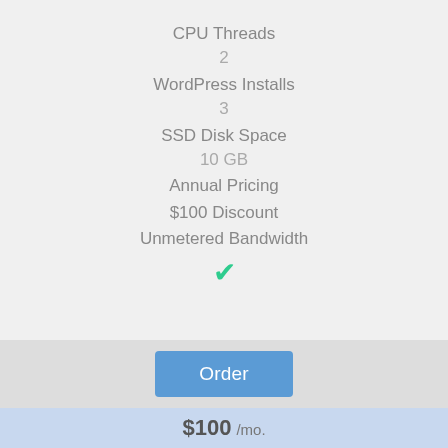CPU Threads
2
WordPress Installs
3
SSD Disk Space
10 GB
Annual Pricing
$100 Discount
Unmetered Bandwidth
✓
Order
$100 /mo.